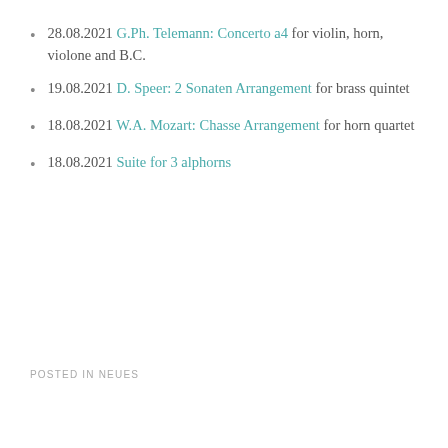28.08.2021 G.Ph. Telemann: Concerto a4 for violin, horn, violone and B.C.
19.08.2021 D. Speer: 2 Sonaten Arrangement for brass quintet
18.08.2021 W.A. Mozart: Chasse Arrangement for horn quartet
18.08.2021 Suite for 3 alphorns
POSTED IN NEUES